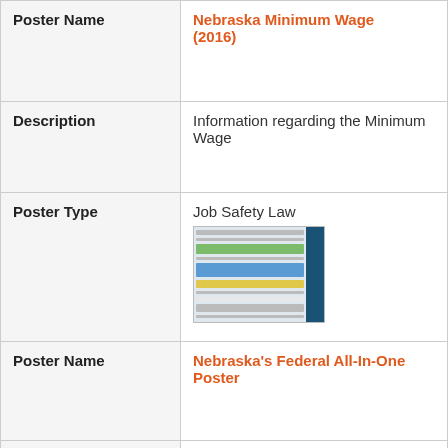| Field | Value |
| --- | --- |
| Poster Name | Nebraska Minimum Wage (2016) |
| Description | Information regarding the Minimum Wage |
| Poster Type | Job Safety Law [poster image] |
| Poster Name | Nebraska's Federal All-In-One Poster |
| Description | Information regarding safety and health in the workplace |
| Poster Type | General Labor Law Poster [poster image] |